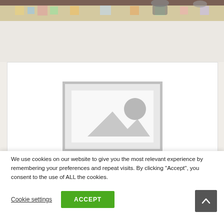[Figure (photo): Top portion of a photo showing children on a colorful alphabet/play mat on a floor, partially cropped]
[Figure (photo): Placeholder image icon (broken/loading image placeholder with mountain and circle symbols) on a white background]
We use cookies on our website to give you the most relevant experience by remembering your preferences and repeat visits. By clicking “Accept”, you consent to the use of ALL the cookies.
Cookie settings
ACCEPT